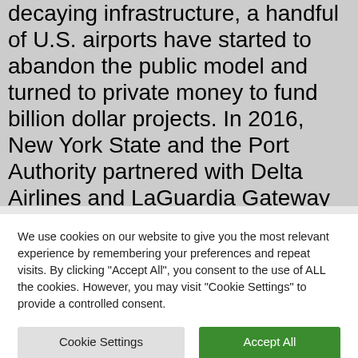decaying infrastructure, a handful of U.S. airports have started to abandon the public model and turned to private money to fund billion dollar projects. In 2016, New York State and the Port Authority partnered with Delta Airlines and LaGuardia Gateway Partners to completely rebuild the airport. LaGuardia airport is now getting an $8 billion overhaul.
We use cookies on our website to give you the most relevant experience by remembering your preferences and repeat visits. By clicking "Accept All", you consent to the use of ALL the cookies. However, you may visit "Cookie Settings" to provide a controlled consent.
Cookie Settings
Accept All